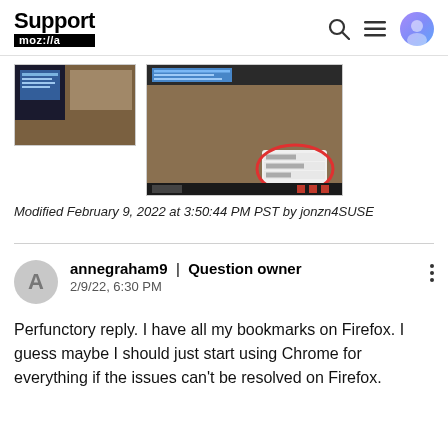Support moz://a
[Figure (screenshot): Two screenshot thumbnails showing Firefox browser windows with context menus]
Modified February 9, 2022 at 3:50:44 PM PST by jonzn4SUSE
annegraham9 | Question owner
2/9/22, 6:30 PM
Perfunctory reply. I have all my bookmarks on Firefox. I guess maybe I should just start using Chrome for everything if the issues can't be resolved on Firefox.